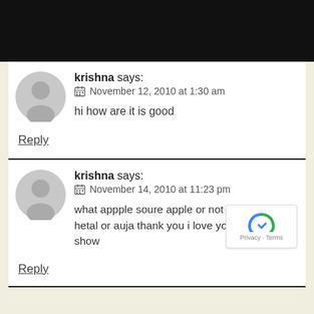[Figure (other): Black banner bar at top of page]
krishna says:
November 12, 2010 at 1:30 am

hi how are it is good
Reply
krishna says:
November 14, 2010 at 11:23 pm

what appple soure apple or not soure apple hetal or auja thank you i love your show good show
Reply